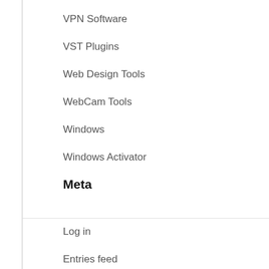VPN Software
VST Plugins
Web Design Tools
WebCam Tools
Windows
Windows Activator
Meta
Log in
Entries feed
Comments feed